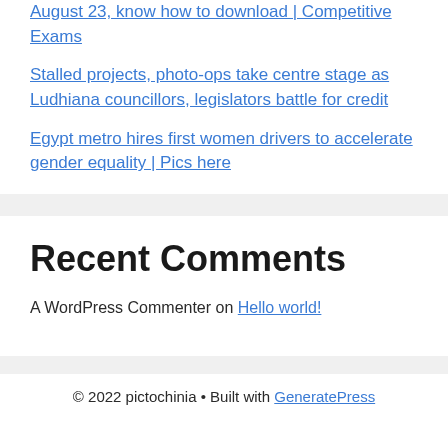August 23, know how to download | Competitive Exams
Stalled projects, photo-ops take centre stage as Ludhiana councillors, legislators battle for credit
Egypt metro hires first women drivers to accelerate gender equality | Pics here
Recent Comments
A WordPress Commenter on Hello world!
© 2022 pictochinia • Built with GeneratePress